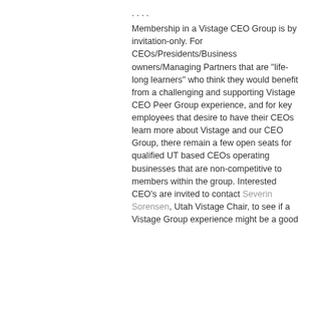... Membership in a Vistage CEO Group is by invitation-only. For CEOs/Presidents/Business owners/Managing Partners that are "life-long learners" who think they would benefit from a challenging and supporting Vistage CEO Peer Group experience, and for key employees that desire to have their CEOs learn more about Vistage and our CEO Group, there remain a few open seats for qualified UT based CEOs operating businesses that are non-competitive to members within the group. Interested CEO's are invited to contact Severin Sorensen, Utah Vistage Chair, to see if a Vistage Group experience might be a good